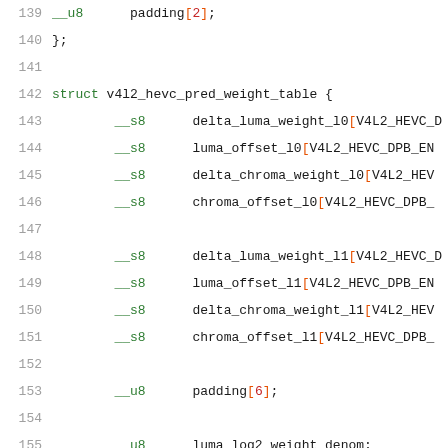139   __u8      padding[2];
140   };
141
142   struct v4l2_hevc_pred_weight_table {
143           __s8      delta_luma_weight_l0[V4L2_HEVC_D...
144           __s8      luma_offset_l0[V4L2_HEVC_DPB_ENT...
145           __s8      delta_chroma_weight_l0[V4L2_HEVC...
146           __s8      chroma_offset_l0[V4L2_HEVC_DPB_...
147
148           __s8      delta_luma_weight_l1[V4L2_HEVC_D...
149           __s8      luma_offset_l1[V4L2_HEVC_DPB_ENT...
150           __s8      delta_chroma_weight_l1[V4L2_HEVC...
151           __s8      chroma_offset_l1[V4L2_HEVC_DPB_...
152
153           __u8      padding[6];
154
155           __u8      luma_log2_weight_denom;
156           __s8      delta_chroma_log2_weight_denom;
157   };
158
159   #define V4L2_HEVC_SLICE_PARAMS_FLAG_SLICE_SAO_LU...
160   #define V4L2_HEVC_SLICE_PARAMS_FLAG_SLICE_SAO_C...